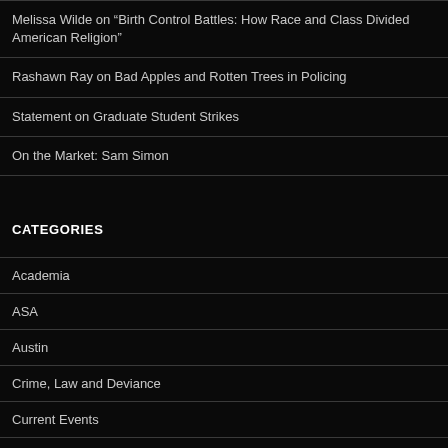Melissa Wilde on “Birth Control Battles: How Race and Class Divided American Religion”
Rashawn Ray on Bad Apples and Rotten Trees in Policing
Statement on Graduate Student Strikes
On the Market: Sam Simon
CATEGORIES
Academia
ASA
Austin
Crime, Law and Deviance
Current Events